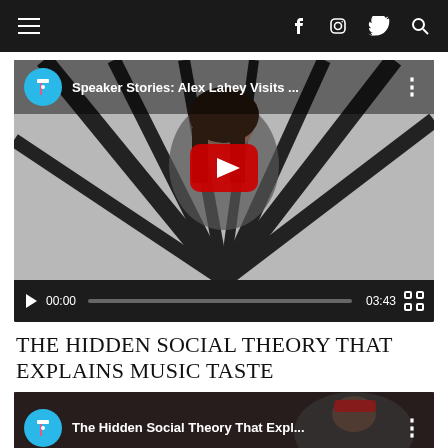Navigation bar with hamburger menu and social icons (Facebook, Instagram, Twitter, Search)
[Figure (screenshot): YouTube video embed: 'Speaker Stories: Alex Lahey Visits ...' with play button overlay showing woman in front of black striped art, controls show 00:00 / 03:43]
THE HIDDEN SOCIAL THEORY THAT EXPLAINS MUSIC TASTE
[Figure (screenshot): YouTube video embed: 'The Hidden Social Theory That Expl...' showing a person with video thumbnail]